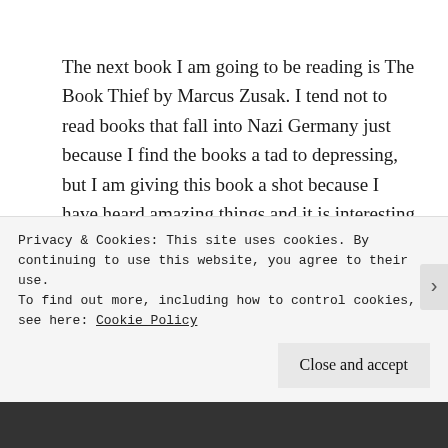The next book I am going to be reading is The Book Thief by Marcus Zusak. I tend not to read books that fall into Nazi Germany just because I find the books a tad to depressing, but I am giving this book a shot because I have heard amazing things and it is interesting that the narrator is death its self. That was a definite hook for me.
Next I will be reading my dad's beaten down copy of
Privacy & Cookies: This site uses cookies. By continuing to use this website, you agree to their use.
To find out more, including how to control cookies, see here: Cookie Policy
Close and accept